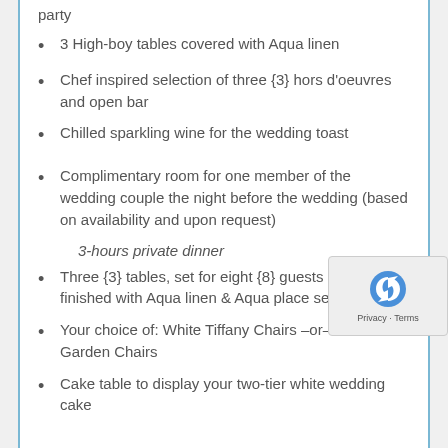party
3 High-boy tables covered with Aqua linen
Chef inspired selection of three {3} hors d'oeuvres and open bar
Chilled sparkling wine for the wedding toast
Complimentary room for one member of the wedding couple the night before the wedding (based on availability and upon request)
3-hours private dinner
Three {3} tables, set for eight {8} guests each and finished with Aqua linen & Aqua place setting
Your choice of: White Tiffany Chairs –or– White Garden Chairs
Cake table to display your two-tier white wedding cake